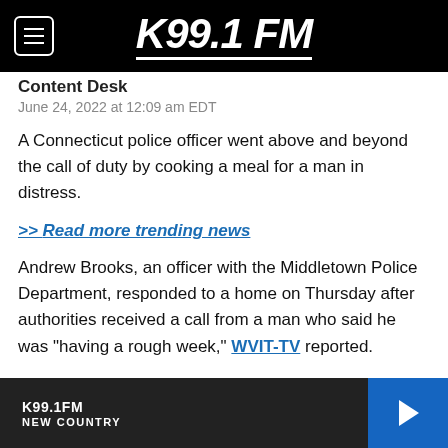K99.1 FM
Content Desk
June 24, 2022 at 12:09 am EDT
A Connecticut police officer went above and beyond the call of duty by cooking a meal for a man in distress.
>> Read more trending news
Andrew Brooks, an officer with the Middletown Police Department, responded to a home on Thursday after authorities received a call from a man who said he was “having a rough week,” WVIT-TV reported.
When officers arrived at the residence, the man, who was living alone, told police he was hungry but did not
K99.1FM NEW COUNTRY